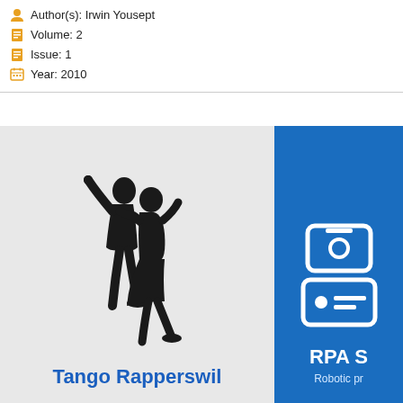Author(s): Irwin Yousept
Volume: 2
Issue: 1
Year: 2010
[Figure (illustration): Tango Rapperswil card: grey background with a black silhouette of two tango dancers and bold blue text 'Tango Rapperswil']
[Figure (illustration): RPA S card: blue background with white robot/device icons and white text 'RPA S' and 'Robotic pr...']